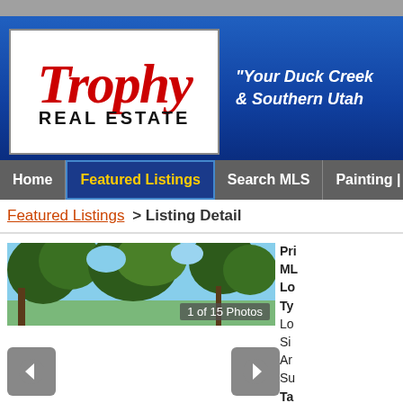[Figure (logo): Trophy Real Estate logo — red cursive 'Trophy' text above bold black 'REAL ESTATE' text, in white box on blue header background]
"Your Duck Creek & Southern Utah..."
Home | Featured Listings | Search MLS | Painting | A...
Featured Listings > Listing Detail
[Figure (photo): Property photo showing pine trees against a blue sky, with overlay text '1 of 15 Photos']
Pri... ML... Lo... Ty... Lo... Si... Ar... Su... Ta... Ar...